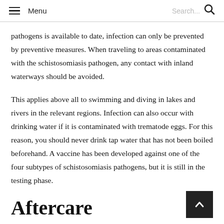Menu  Search...
pathogens is available to date, infection can only be prevented by preventive measures. When traveling to areas contaminated with the schistosomiasis pathogen, any contact with inland waterways should be avoided.
This applies above all to swimming and diving in lakes and rivers in the relevant regions. Infection can also occur with drinking water if it is contaminated with trematode eggs. For this reason, you should never drink tap water that has not been boiled beforehand. A vaccine has been developed against one of the four subtypes of schistosomiasis pathogens, but it is still in the testing phase.
Aftercare